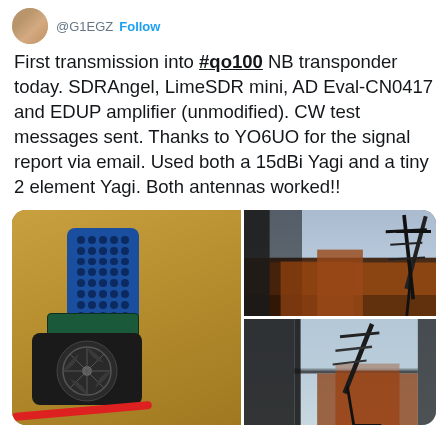@G1EGZ Follow
First transmission into #qo100 NB transponder today. SDRAngel, LimeSDR mini, AD Eval-CN0417 and EDUP amplifier (unmodified). CW test messages sent. Thanks to YO6UO for the signal report via email. Used both a 15dBi Yagi and a tiny 2 element Yagi. Both antennas worked!!
[Figure (photo): Three photos: left shows SDR equipment including LimeSDR mini (blue device), evaluation board, and EDUP amplifier with fan on a wooden table with red cable; top right shows a Yagi antenna visible through a window with brick buildings outside; bottom right shows another Yagi antenna propped against a window.]